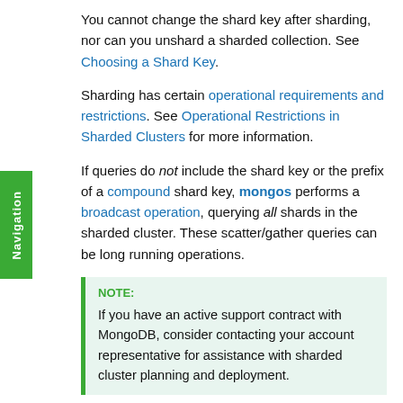You cannot change the shard key after sharding, nor can you unshard a sharded collection. See Choosing a Shard Key.
Sharding has certain operational requirements and restrictions. See Operational Restrictions in Sharded Clusters for more information.
If queries do not include the shard key or the prefix of a compound shard key, mongos performs a broadcast operation, querying all shards in the sharded cluster. These scatter/gather queries can be long running operations.
NOTE: If you have an active support contract with MongoDB, consider contacting your account representative for assistance with sharded cluster planning and deployment.